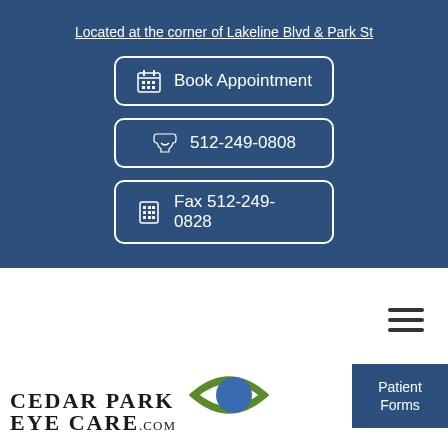Located at the corner of Lakeline Blvd & Park St
Book Appointment
512-249-0808
Fax 512-249-0828
[Figure (logo): Cedar Park Eye Care logo with eye graphic]
Patient Forms